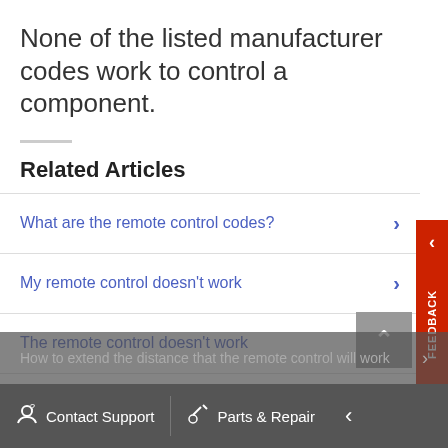None of the listed manufacturer codes work to control a component.
Related Articles
What are the remote control codes?
My remote control doesn't work
The remote control doesn't work
How to extend the distance that the remote control will work
Contact Support  Parts & Repair